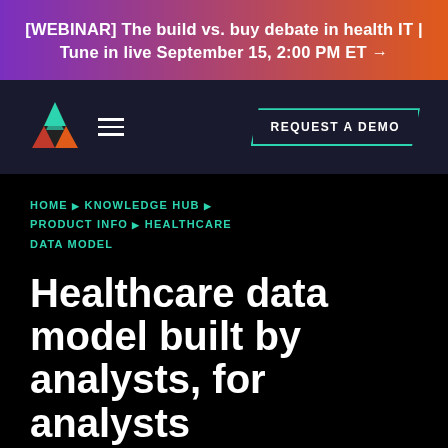[WEBINAR] The build vs. buy debate in health IT | Tune in live September 15, 2:00 PM ET →
[Figure (logo): Arcadia triangle logo with green, red, and orange colored sections]
REQUEST A DEMO
HOME ▶ KNOWLEDGE HUB ▶ PRODUCT INFO ▶ HEALTHCARE DATA MODEL
Healthcare data model built by analysts, for analysts
Arcadia Foundry is much more than a database, simplifying healthcare data into a